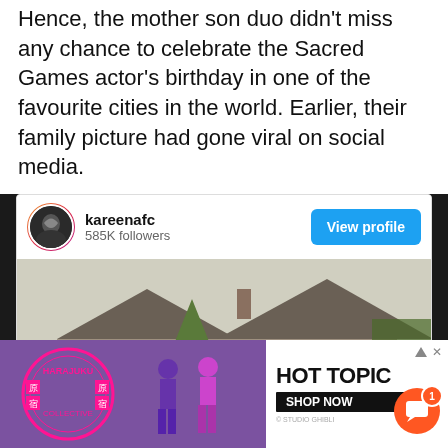Hence, the mother son duo didn't miss any chance to celebrate the Sacred Games actor's birthday in one of the favourite cities in the world. Earlier, their family picture had gone viral on social media.
[Figure (screenshot): Instagram profile widget showing user kareenafc with 585K followers, a View profile button, and a photo of a stone house with ivy and trees]
[Figure (photo): Advertisement banner for Hot Topic featuring Harajuku Collective branding with two female figures in purple outfits and a Shop Now button]